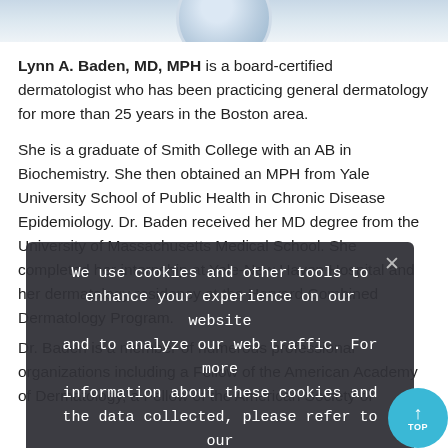[Figure (photo): Partial view of a circular logo or portrait photo, blue tones, cropped at top of page]
Lynn A. Baden, MD, MPH is a board-certified dermatologist who has been practicing general dermatology for more than 25 years in the Boston area.
She is a graduate of Smith College with an AB in Biochemistry. She then obtained an MPH from Yale University School of Public Health in Chronic Disease Epidemiology. Dr. Baden received her MD degree from the University of Massachusetts Medical School. She completed her internship at Yale-New Haven Hospital and her dermatology residency at the Harvard Combined Dermatology Program.
Dr. Baden is a member of numerous professional organizations including a Fellow of the American Academy of Dermatology, a Fellow of the American Society of
We use cookies and other tools to enhance your experience on our website and to analyze our web traffic. For more information about these cookies and the data collected, please refer to our Privacy Policy.